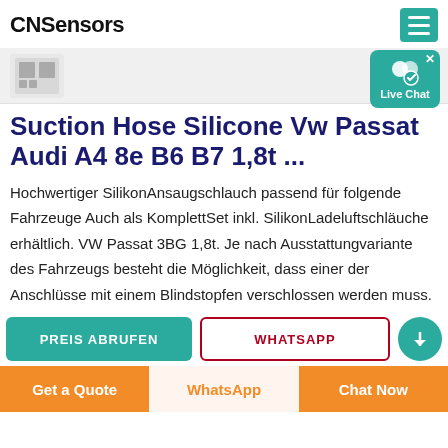CNSensors
Suction Hose Silicone Vw Passat Audi A4 8e B6 B7 1,8t ...
Hochwertiger SilikonAnsaugschlauch passend für folgende Fahrzeuge Auch als KomplettSet inkl. SilikonLadeluftschläuche erhältlich. VW Passat 3BG 1,8t. Je nach Ausstattungvariante des Fahrzeugs besteht die Möglichkeit, dass einer der Anschlüsse mit einem Blindstopfen verschlossen werden muss.
PREIS ABRUFEN | WHATSAPP
Get a Quote | WhatsApp | Chat Now